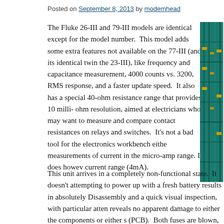Posted on September 8, 2013 by modemhead
The Fluke 26-III and 79-III models are identical except for the model number. This model adds some extra features not available on the 77-III (and its identical twin the 23-III), like frequency and capacitance measurement, 4000 counts vs. 3200, RMS response, and a faster update speed. It also has a special 40-ohm resistance range that provides 10 milli-ohm resolution, aimed at electricians who may want to measure and compare contact resistances on relays and switches. It’s not a bad tool for the electronics workbench either, measurements of current in the micro-amp range. It does however current range (4mA).
[Figure (photo): Partial view of a Fluke multimeter PCB with green circuit board visible on the right edge of the page]
This unit arrives in a completely non-functional state. It doesn’t attempting to power up with a fresh battery results in absolutely Disassembly and a quick visual inspection, with particular atten reveals no apparent damage to either the components or either s (PCB). Both fuses are blown, but that’s about par for the course